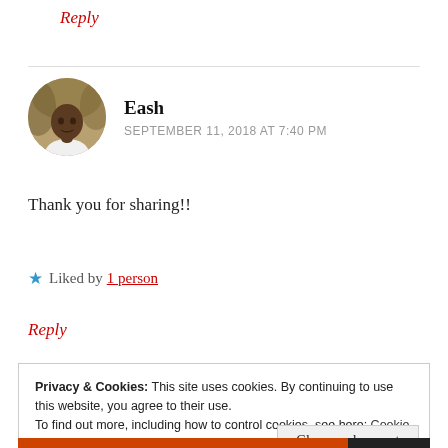Reply
[Figure (photo): Circular avatar photo of a man named Eash]
Eash
SEPTEMBER 11, 2018 AT 7:40 PM
Thank you for sharing!!
★ Liked by 1 person
Reply
Privacy & Cookies: This site uses cookies. By continuing to use this website, you agree to their use.
To find out more, including how to control cookies, see here: Cookie Policy
Close and accept